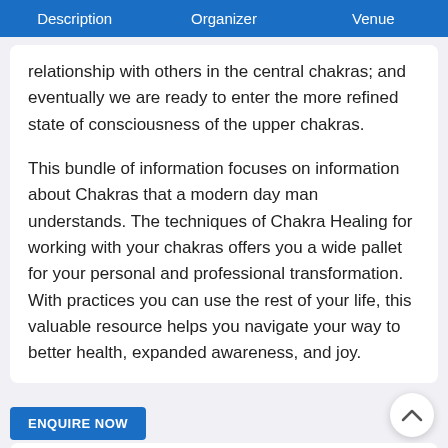| Description | Organizer | Venue |
| --- | --- | --- |
relationship with others in the central chakras; and eventually we are ready to enter the more refined state of consciousness of the upper chakras.
This bundle of information focuses on information about Chakras that a modern day man understands. The techniques of Chakra Healing for working with your chakras offers you a wide pallet for your personal and professional transformation. With practices you can use the rest of your life, this valuable resource helps you navigate your way to better health, expanded awareness, and joy.
About The Organizers/Facilitators
About the Facilitator:
Karishma Manchanda is an author of the